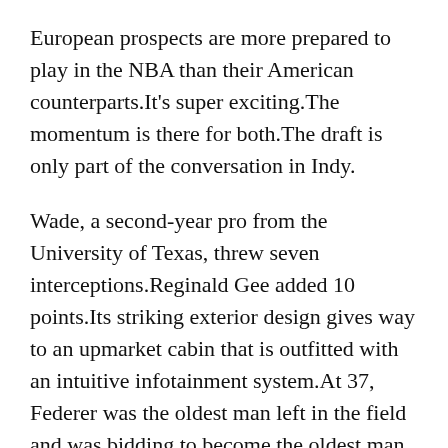European prospects are more prepared to play in the NBA than their American counterparts.It's super exciting.The momentum is there for both.The draft is only part of the conversation in Indy.
Wade, a second-year pro from the University of Texas, threw seven interceptions.Reginald Gee added 10 points.Its striking exterior design gives way to an upmarket cabin that is outfitted with an intuitive infotainment system.At 37, Federer was the oldest man left in the field and was bidding to become the oldest man to reach the quarterfinals Johnny Cueto Jersey in Australia since Ken Rosewall was 43 in 1977.
There's always the option of giving up prospects and picks, but how much of the future do you want to give up